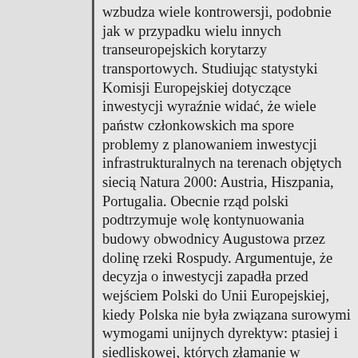wzbudza wiele kontrowersji, podobnie jak w przypadku wielu innych transeuropejskich korytarzy transportowych. Studiując statystyki Komisji Europejskiej dotyczące inwestycji wyraźnie widać, że wiele państw członkowskich ma spore problemy z planowaniem inwestycji infrastrukturalnych na terenach objętych siecią Natura 2000: Austria, Hiszpania, Portugalia. Obecnie rząd polski podtrzymuje wolę kontynuowania budowy obwodnicy Augustowa przez dolinę rzeki Rospudy. Argumentuje, że decyzja o inwestycji zapadła przed wejściem Polski do Unii Europejskiej, kiedy Polska nie była związana surowymi wymogami unijnych dyrektyw: ptasiej i siedliskowej, których złamanie w związku z inwestycją zarzuca Polsce Komisja